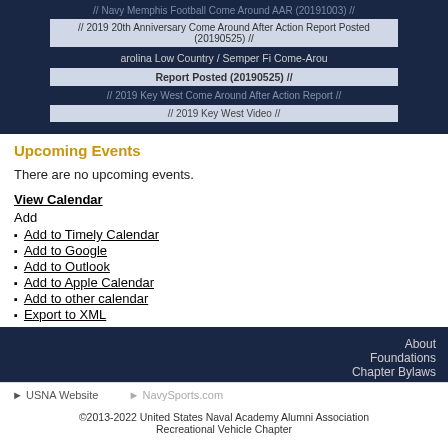[Figure (screenshot): Dark navy banner area showing navigation links: Navy Memphis Football Come Around AAR (20191003), 2019 20th Anniversary Come Around After Action Report Posted (20190525), Carolina Low Country / Semper Fi Come-Around Report Posted (20190525), 2019 Key West Come Around After Action Report, 2019 Key West Video]
Upcoming Events
There are no upcoming events.
View Calendar
Add
Add to Timely Calendar
Add to Google
Add to Outlook
Add to Apple Calendar
Add to other calendar
Export to XML
About
Foundations
Chapter Bylaws
► USNA Website   ► NavySports.com
©2013-2022 United States Naval Academy Alumni Association Recreational Vehicle Chapter